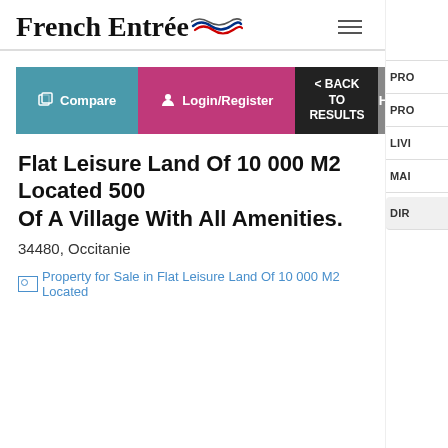French Entrée
Compare | Login/Register | < BACK TO RESULTS | HO
Flat Leisure Land Of 10 000 M2 Located 500 Of A Village With All Amenities.
34480, Occitanie
[Figure (photo): Broken image placeholder: Property for Sale in Flat Leisure Land Of 10 000 M2 Located]
PRO
PRO
LIVI
MAI
DIR